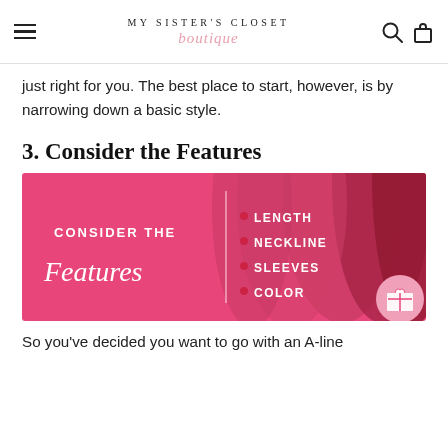MY SISTER'S CLOSET boutique
just right for you. The best place to start, however, is by narrowing down a basic style.
3. Consider the Features
[Figure (infographic): Pink infographic showing clothes on hangers with text 'CONSIDER THE Features' on the left and bullet points LENGTH, NECKLINE, SLEEVES, COLOR on the right]
So you've decided you want to go with an A-line